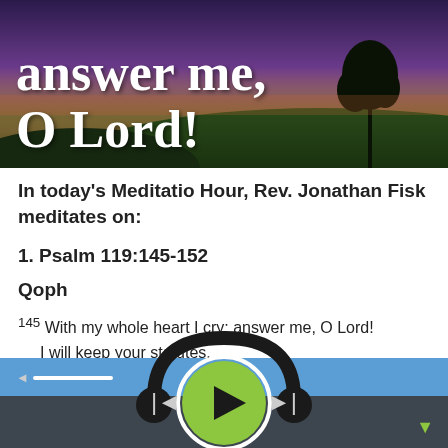[Figure (photo): Dark landscape banner image with purple/blue sky, silhouette of tree on hill, with bold white serif text reading 'answer me, O Lord!']
In today's Meditatio Hour, Rev. Jonathan Fisk meditates on:
1. Psalm 119:145-152
Qoph
145 With my whole heart I cry; answer me, O Lord! I will keep your statutes. 146 I call to you; save me
[Figure (screenshot): Audio player interface with blue stripe, dark background, headphones icon, green circular play button, back and forward skip buttons, and volume control slider]